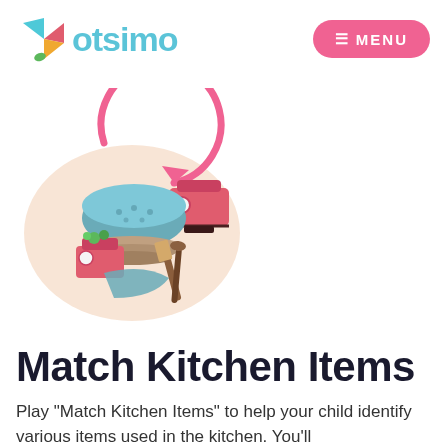otsimo  MENU
[Figure (illustration): Kitchen items illustration showing scales, bowls, pans, spatulas and cooking utensils with a pink refresh arrow, on a soft peach blob background]
Match Kitchen Items
Play "Match Kitchen Items" to help your child identify various items used in the kitchen. You'll